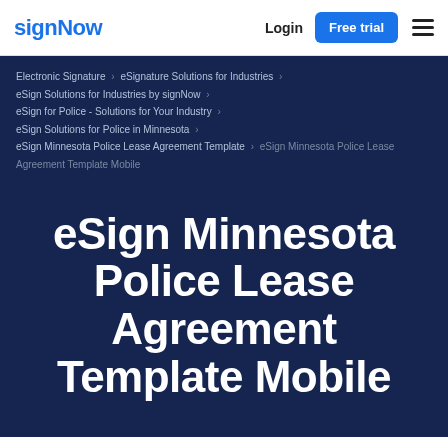signNow | Login | Free trial
Electronic Signature › eSignature Solutions for Industries ›
eSign Solutions for Industries by signNow ›
eSign for Police - Solutions for Your Industry ›
eSign Solutions for Police in Minnesota ›
eSign Minnesota Police Lease Agreement Template › eSign Minnesota Police Lease Agreement Template Mobile
eSign Minnesota Police Lease Agreement Template Mobile